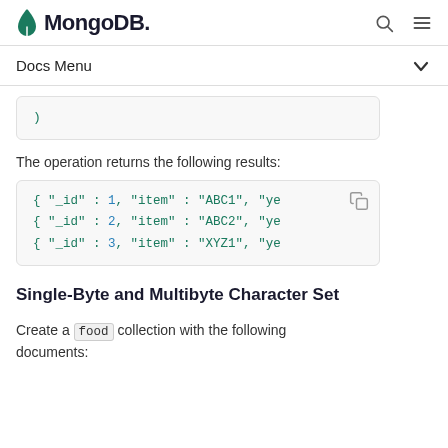MongoDB | Docs Menu
)
The operation returns the following results:
{ "_id" : 1, "item" : "ABC1", "ye
{ "_id" : 2, "item" : "ABC2", "ye
{ "_id" : 3, "item" : "XYZ1", "ye
Single-Byte and Multibyte Character Set
Create a food collection with the following documents: